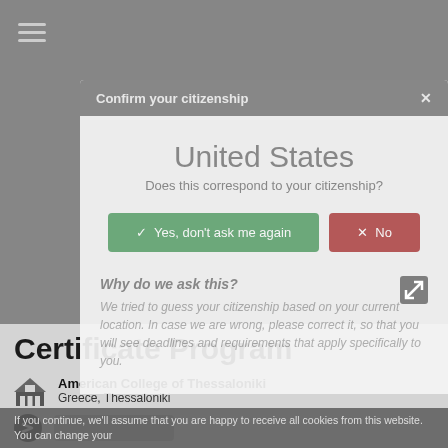[Figure (screenshot): Modal dialog box with header 'Confirm your citizenship', showing 'United States' as detected country, with 'Yes, don't ask me again' (green) and 'No' (red) buttons, and a 'Why do we ask this?' explanation section.]
Certificate Program
American College of Thessaloniki
Greece, Thessaloniki
If you continue, we'll assume that you are happy to receive all cookies from this website. You can change your